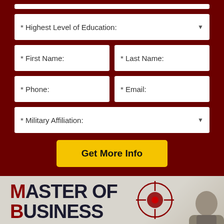[Figure (screenshot): Web form on dark red background with fields: Highest Level of Education (dropdown), First Name, Last Name, Phone, Email, Military Affiliation (dropdown), and a yellow 'Get More Info' button]
[Figure (infographic): Banner image with text 'MASTER OF BUSINESS ADMINISTRATION' where M, B, A are in dark red and rest in dark navy, with a crosshair/target graphic and partial photo of a person in the background]